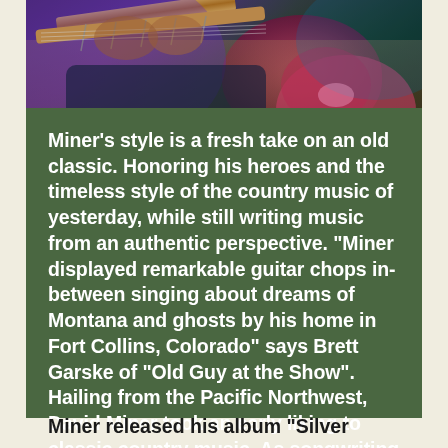[Figure (photo): Close-up photo of a guitarist playing electric guitar, with purple and blue stage lighting, hands visible on guitar neck and body with a pink/red guitar body visible]
Miner's style is a fresh take on an old classic. Honoring his heroes and the timeless style of the country music of yesterday, while still writing music from an authentic perspective. “Miner displayed remarkable guitar chops in-between singing about dreams of Montana and ghosts by his home in Fort Collins, Colorado” says Brett Garske of “Old Guy at the Show”. Hailing from the Pacific Northwest, David Miner took an early liking to classic country music. As songwriting and guitar quickly became his passion at a young age, he immersed himself in the history of country music and the many talented men and women that contributed to the genre.
Miner released his album “Silver